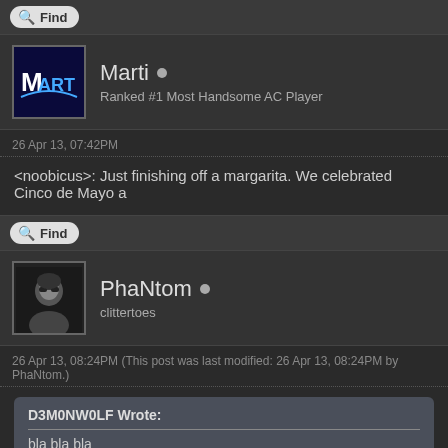[Figure (screenshot): Find button bar at top]
[Figure (screenshot): User profile row for Marti with avatar logo, username Marti with online dot, subtitle: Ranked #1 Most Handsome AC Player]
26 Apr 13, 07:42PM
<noobicus>: Just finishing off a margarita. We celebrated Cinco de Mayo a
[Figure (screenshot): Find button]
[Figure (screenshot): User profile row for PhaNtom with avatar photo, username PhaNtom with online dot, subtitle: clittertoes]
26 Apr 13, 08:24PM (This post was last modified: 26 Apr 13, 08:24PM by PhaNtom.)
D3M0NW0LF Wrote:
bla bla bla
Stop quoting me :P
[Figure (screenshot): Find button at bottom]